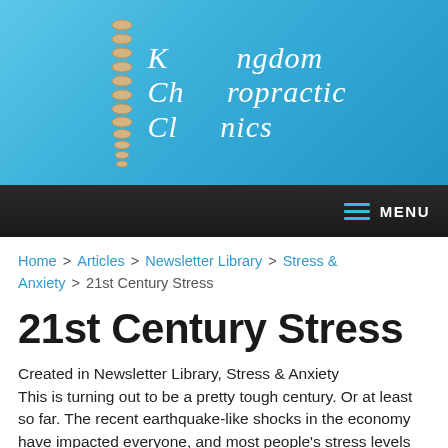[Figure (logo): Kingdom Chiropractic Clinics logo with spine graphic on blue gradient background]
MENU
Home > Articles > Newsletter Library > Stress & Anxiety > 21st Century Stress
21st Century Stress
Created in Newsletter Library, Stress & Anxiety
This is turning out to be a pretty tough century. Or at least so far. The recent earthquake-like shocks in the economy have impacted everyone, and most people's stress levels are sky-high.